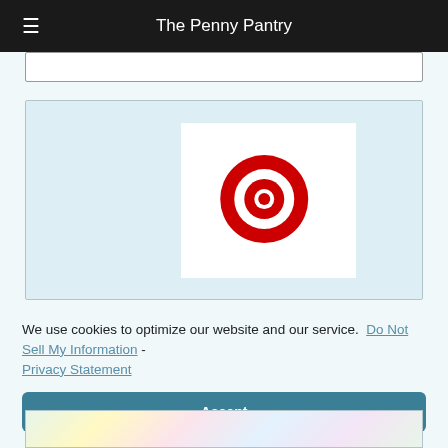The Penny Pantry
[Figure (screenshot): Search box area (partial, cropped at top)]
[Figure (logo): Target bullseye logo on white background inside a light blue product card]
We use cookies to optimize our website and our service.  Do Not Sell My Information  -  Privacy Statement
Accept
[Figure (photo): Colorful image strip partially visible at bottom of page]